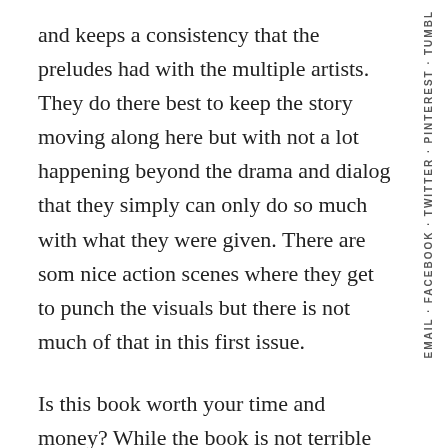and keeps a consistency that the preludes had with the multiple artists. They do there best to keep the story moving along here but with not a lot happening beyond the drama and dialog that they simply can only do so much with what they were given. There are som nice action scenes where they get to punch the visuals but there is not much of that in this first issue.
Is this book worth your time and money? While the book is not terrible for five bucks I really wish that this had been more story driven than yet another set up story. We're now at three issues and the story really hasn't moved forward that much here. The story is decent and the art is good but in the end there is